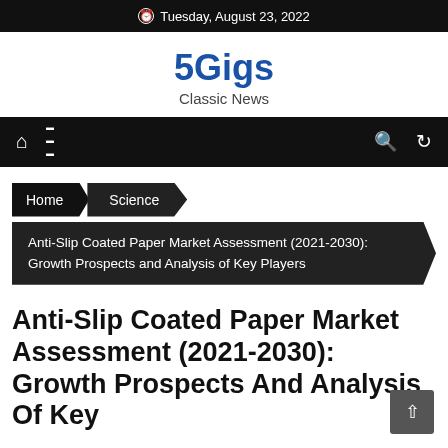Tuesday, August 23, 2022
5Gigs
Classic News
Home  Science  Anti-Slip Coated Paper Market Assessment (2021-2030): Growth Prospects and Analysis of Key Players
Anti-Slip Coated Paper Market Assessment (2021-2030): Growth Prospects And Analysis Of Key